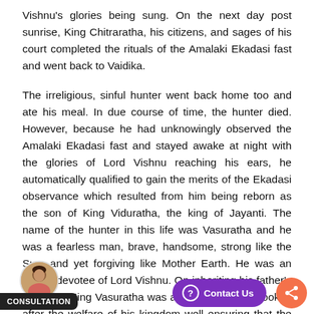Vishnu's glories being sung. On the next day post sunrise, King Chitraratha, his citizens, and sages of his court completed the rituals of the Amalaki Ekadasi fast and went back to Vaidika.
The irreligious, sinful hunter went back home too and ate his meal. In due course of time, the hunter died. However, because he had unknowingly observed the Amalaki Ekadasi fast and stayed awake at night with the glories of Lord Vishnu reaching his ears, he automatically qualified to gain the merits of the Ekadasi observance which resulted from him being reborn as the son of King Viduratha, the king of Jayanti. The name of the hunter in this life was Vasuratha and he was a fearless man, brave, handsome, strong like the Sun, and yet forgiving like Mother Earth. He was an ardent devotee of Lord Vishnu. On inheriting his father's kingdom, King Vasuratha was a brilliant king, he looked after the welfare of his kingdom well ensuring that the poor got enough